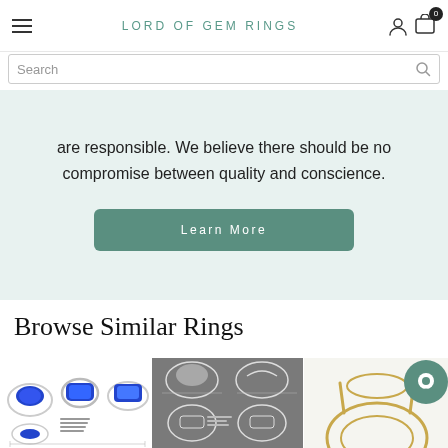LORD OF GEM RINGS
are responsible. We believe there should be no compromise between quality and conscience.
Learn More
Browse Similar Rings
[Figure (photo): Multiple views of a blue gemstone ring in silver setting with technical drawings]
[Figure (photo): Technical design drawings of a gemstone ring on grey background]
[Figure (photo): Partial view of a gold ring setting, partially obscured by chat bubble]